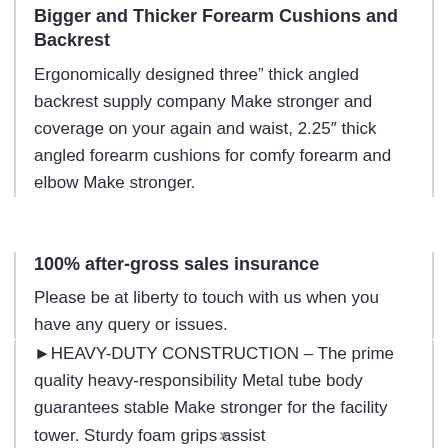Bigger and Thicker Forearm Cushions and Backrest
Ergonomically designed three” thick angled backrest supply company Make stronger and coverage on your again and waist, 2.25″ thick angled forearm cushions for comfy forearm and elbow Make stronger.
100% after-gross sales insurance
Please be at liberty to touch with us when you have any query or issues.
►HEAVY-DUTY CONSTRUCTION – The prime quality heavy-responsibility Metal tube body guarantees stable Make stronger for the facility tower. Sturdy foam grips assist